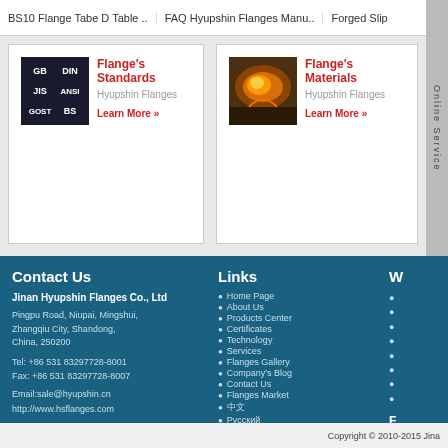BS10 Flange Tabe D Table .. | FAQ Hyupshin Flanges Manu.. | Forged Slip
[Figure (logo): GB DIN JIS ANSI GOST BS standards logo in dark background]
Flange's Standards
Hyupshin Flanges
Learn More »
[Figure (photo): Metal casting/forging process photo with molten metal]
Flange's Materials
Hyupshin Flanges
Learn More »
Contact Us
Jinan Hyupshin Flanges Co., Ltd
Pingpu Road, Niupai, Mingshui, Zhangqiu City, Shandong, China, 250200
Tel: +86 531 83297728-8001
Fax: +86 531 83297728-8007
Email:sale@hyupshin.cn
http://www.hsflanges.com
Links
Home Page
About Us
Products Center
Certificates
Technology
Services
Flanges Gallery
Company's Blog
Contact Us
Flanges Market
中文
Русский
日本語
Copyright © 2010-2015 Jina